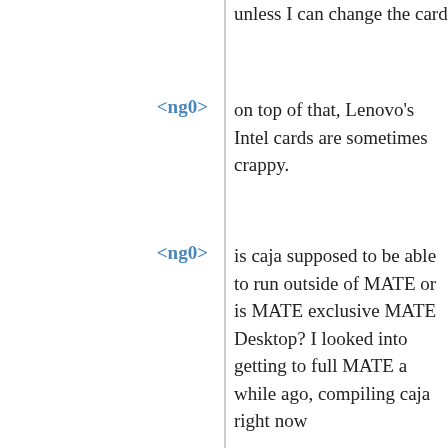unless I can change the card
<ng0>
on top of that, Lenovo's Intel cards are sometimes crappy.
<ng0>
is caja supposed to be able to run outside of MATE or is MATE exclusive MATE Desktop? I looked into getting to full MATE a while ago, compiling caja right now
<ng0>
i mean… forget it. I can run nautilus here aswell, so it should